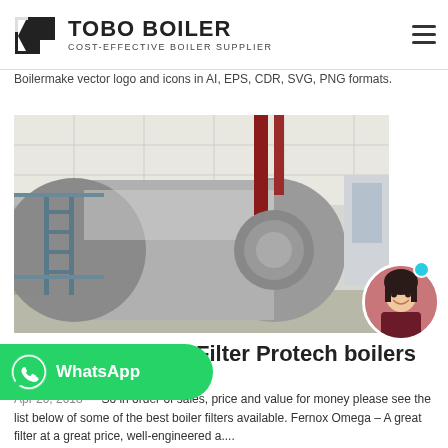TOBO BOILER — COST-EFFECTIVE BOILER SUPPLIER
Boilermake vector logo and icons in AI, EPS, CDR, SVG, PNG formats.
[Figure (photo): Industrial boiler installation inside a large warehouse facility. A large cylindrical horizontal boiler with metallic cladding is shown with scaffolding and pipes. A chat bubble overlay reads 'Hey, let me help you!' with an avatar of a woman.]
[Figure (logo): WhatsApp button with green background, WhatsApp phone icon, and text 'WhatsApp']
Filter Protech boilers
Apr 20, 2018 — So in order of sales, price and value for money please see the list below of some of the best boiler filters available. Fernox Omega – A great filter at a great price, well-engineered a....